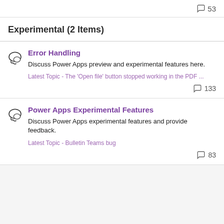53 (comment count)
Experimental (2 Items)
Error Handling
Discuss Power Apps preview and experimental features here.
Latest Topic - The 'Open file' button stopped working in the PDF ...
133 (comment count)
Power Apps Experimental Features
Discuss Power Apps experimental features and provide feedback.
Latest Topic - Bulletin Teams bug
83 (comment count)